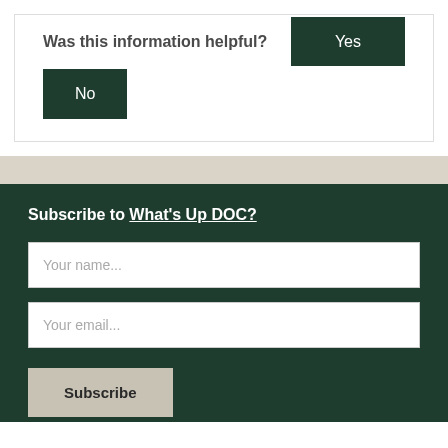Was this information helpful?
Yes
No
Subscribe to What's Up DOC?
Your name...
Your email...
Subscribe